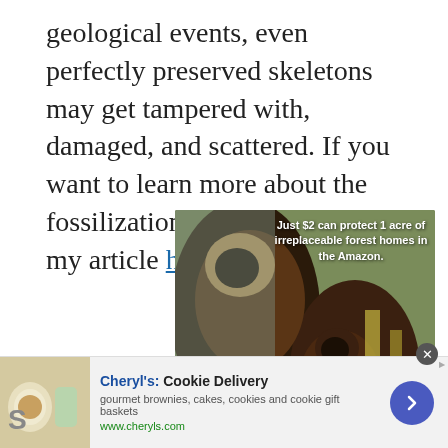geological events, even perfectly preserved skeletons may get tampered with, damaged, and scattered. If you want to learn more about the fossilization process, check out my article here.
[Figure (photo): Two monkeys (capuchins) in the Amazon rainforest with text overlay: 'Just $2 can protect 1 acre of irreplaceable forest homes in the Amazon.' — advertisement for Amazon conservation.]
[Figure (photo): Bottom banner advertisement: Cheryl's Cookie Delivery — gourmet brownies, cakes, cookies and cookie gift baskets. www.cheryls.com. Shows thumbnail of food/drink image and a blue circular arrow button.]